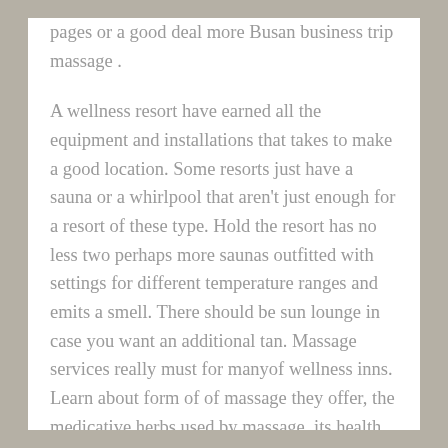pages or a good deal more Busan business trip massage .
A wellness resort have earned all the equipment and installations that takes to make a good location. Some resorts just have a sauna or a whirlpool that aren't just enough for a resort of these type. Hold the resort has no less two perhaps more saunas outfitted with settings for different temperature ranges and emits a smell. There should be sun lounge in case you want an additional tan. Massage services really must for manyof wellness inns. Learn about form of of massage they offer, the medicative herbs used by massage, its health benefits etc. Fair ones have yoga centers too. Make sure the